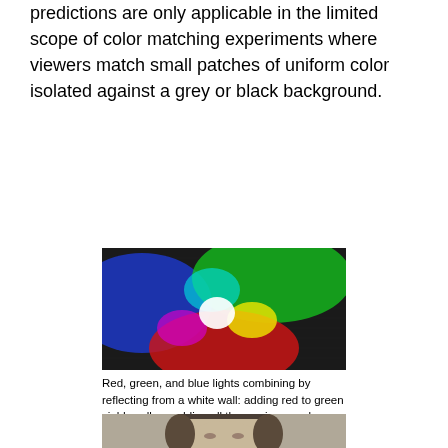predictions are only applicable in the limited scope of color matching experiments where viewers match small patches of uniform color isolated against a grey or black background.
[Figure (photo): Red, green, and blue lights combining by reflecting from a white wall, showing additive color mixing: red+green=yellow, all three=white center.]
Red, green, and blue lights combining by reflecting from a white wall: adding red to green yields yellow; adding all three primary colors together yields white.
[Figure (photo): Black and white portrait photograph of a person (cropped, showing head and shoulders).]